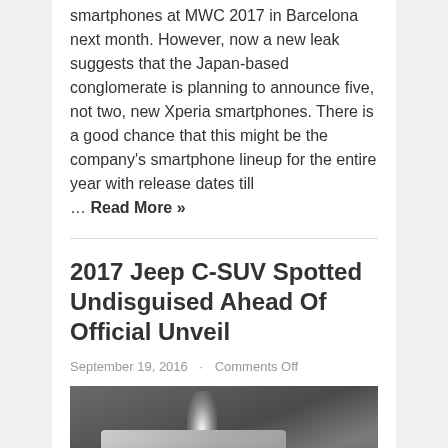smartphones at MWC 2017 in Barcelona next month. However, now a new leak suggests that the Japan-based conglomerate is planning to announce five, not two, new Xperia smartphones. There is a good chance that this might be the company's smartphone lineup for the entire year with release dates till … Read More »
2017 Jeep C-SUV Spotted Undisguised Ahead Of Official Unveil
September 19, 2016   Comments Off
[Figure (photo): Photo of a white Jeep C-SUV being unveiled at an event, crowd visible in background, bright spotlight beam from above, orange/red banner across lower portion of vehicle]